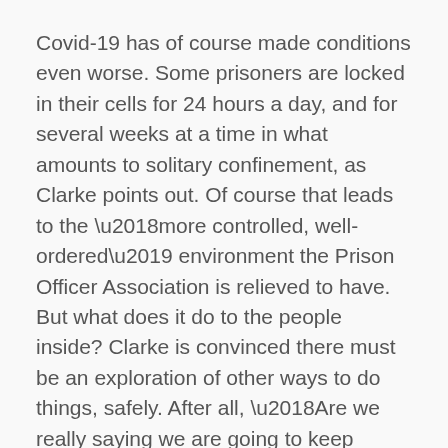Covid-19 has of course made conditions even worse. Some prisoners are locked in their cells for 24 hours a day, and for several weeks at a time in what amounts to solitary confinement, as Clarke points out. Of course that leads to the ‘more controlled, well-ordered’ environment the Prison Officer Association is relieved to have. But what does it do to the people inside? Clarke is convinced there must be an exploration of other ways to do things, safely. After all, ‘Are we really saying we are going to keep prisoners locked in their cells for another 3 months… 6 months… a year?’
After my talks on Art behind Bars in which I reveal the shocking but oft-printed statistics of our prison system’s failures, people frequently